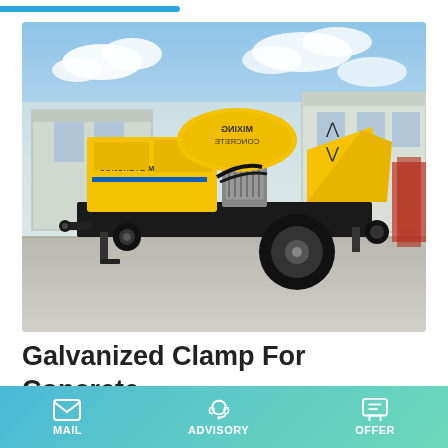[Figure (photo): Yellow concrete mixer pump truck (mobile trailer-mounted unit with mixing drum and pump body labeled 'CONCRETE MIXER PUMP') parked on a concrete yard in front of a factory building. The machine is primarily yellow with black chassis and large rubber tires.]
Galvanized Clamp For Concrete Pump Pipe Clamp For Large
MAIL   ADVISORY   OFFER